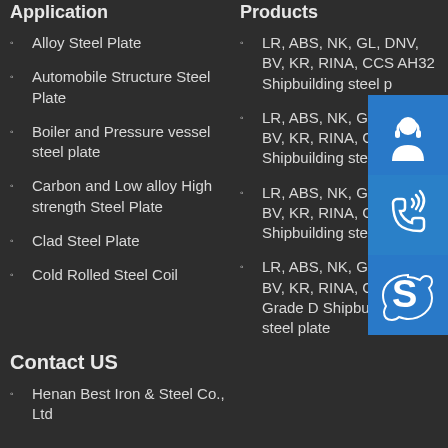Application
Alloy Steel Plate
Automobile Structure Steel Plate
Boiler and Pressure vessel steel plate
Carbon and Low alloy High strength Steel Plate
Clad Steel Plate
Cold Rolled Steel Coil
Products
LR, ABS, NK, GL, DNV, BV, KR, RINA, CCS AH32 Shipbuilding steel plate
LR, ABS, NK, GL, DNV, BV, KR, RINA, CCS AH32 Shipbuilding steel plate
LR, ABS, NK, GL, DNV, BV, KR, RINA, CCS Shipbuilding steel plate
LR, ABS, NK, GL, DNV, BV, KR, RINA, CCS, Grade D Shipbuilding steel plate
[Figure (illustration): Customer service headset icon on blue background]
[Figure (illustration): Phone with signal waves icon on blue background]
[Figure (logo): Skype logo icon on blue background]
Contact US
Henan Best Iron & Steel Co., Ltd